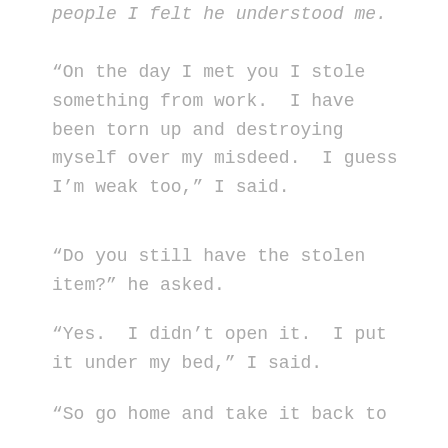people I felt he understood me.
“On the day I met you I stole something from work. I have been torn up and destroying myself over my misdeed. I guess I’m weak too,” I said.
“Do you still have the stolen item?” he asked.
“Yes. I didn’t open it. I put it under my bed,” I said.
“So go home and take it back to